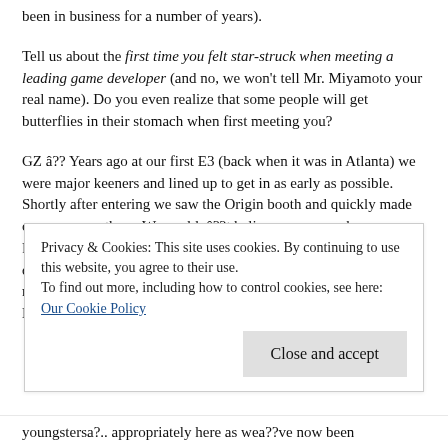been in business for a number of years).
Tell us about the first time you felt star-struck when meeting a leading game developer (and no, we won't tell Mr. Miyamoto your real name). Do you even realize that some people will get butterflies in their stomach when first meeting you?
GZ â?? Years ago at our first E3 (back when it was in Atlanta) we were major keeners and lined up to get in as early as possible. Shortly after entering we saw the Origin booth and quickly made our way over there. We couldnâ??t believe our eyes when we saw Richard Garriott putting the final touches on the Ultima Online display so we struck up a conversation. We talked for a few minutes (he was very gracious) and we gave him an early vintage BioWare t-shirt (we wonder if heâ??s still got it).
Privacy & Cookies: This site uses cookies. By continuing to use this website, you agree to their use.
To find out more, including how to control cookies, see here: Our Cookie Policy
youngstersa?.. appropriately here as wea??ve now been